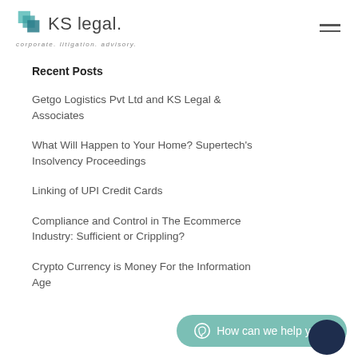[Figure (logo): KS Legal logo with teal geometric icon and text 'KS legal. corporate. litigation. advisory.']
Recent Posts
Getgo Logistics Pvt Ltd and KS Legal & Associates
What Will Happen to Your Home? Supertech's Insolvency Proceedings
Linking of UPI Credit Cards
Compliance and Control in The Ecommerce Industry: Sufficient or Crippling?
Crypto Currency is Money For the Information Age